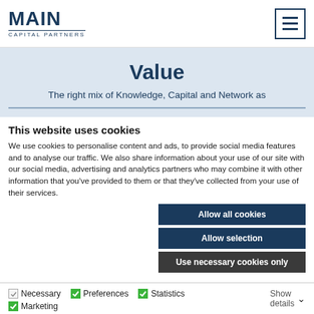[Figure (logo): MAIN Capital Partners logo with menu hamburger icon]
Value
The right mix of Knowledge, Capital and Network as
This website uses cookies
We use cookies to personalise content and ads, to provide social media features and to analyse our traffic. We also share information about your use of our site with our social media, advertising and analytics partners who may combine it with other information that you've provided to them or that they've collected from your use of their services.
Allow all cookies
Allow selection
Use necessary cookies only
Necessary  Preferences  Statistics  Marketing  Show details